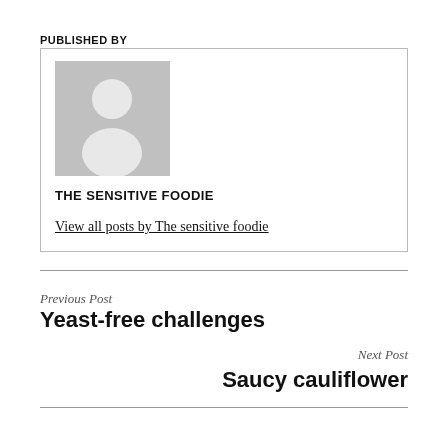PUBLISHED BY
[Figure (illustration): Grey placeholder avatar icon showing a person silhouette]
THE SENSITIVE FOODIE
View all posts by The sensitive foodie
Previous Post
Yeast-free challenges
Next Post
Saucy cauliflower